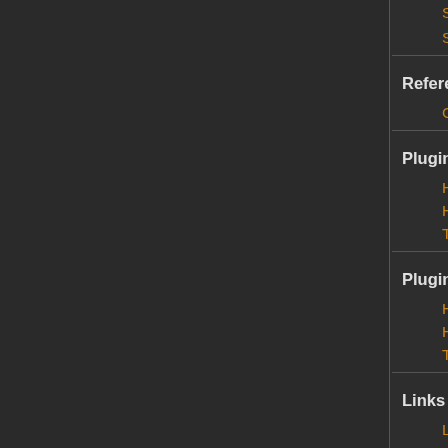Starting Tips
Story Writing Basics
Reference
Glossary
Plugin Basics (RPG Maker MZ)
How to Install Plugins (RPG Maker M…
How to Update Plugins (RPG Maker…
Troubleshooting Plugins (RPG Make…
Plugin Basics (RPG Maker MV)
How to Install Plugins (RPG Maker M…
How to Update Plugins (RPG Maker…
Troubleshooting Plugins (RPG Make…
Links
Let's Make Comic Series ↗
RPG Design Advice Videos ↗